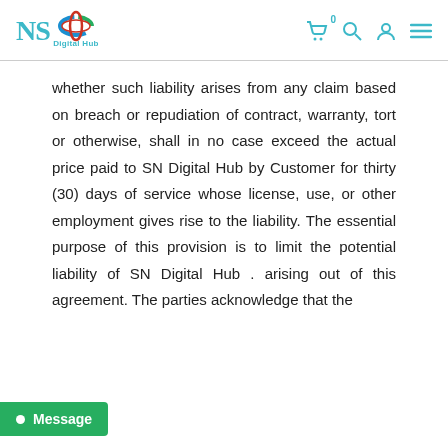NSI Digital Hub — navigation header with logo and icons
whether such liability arises from any claim based on breach or repudiation of contract, warranty, tort or otherwise, shall in no case exceed the actual price paid to SN Digital Hub by Customer for thirty (30) days of service whose license, use, or other employment gives rise to the liability. The essential purpose of this provision is to limit the potential liability of SN Digital Hub . arising out of this agreement. The parties acknowledge that the